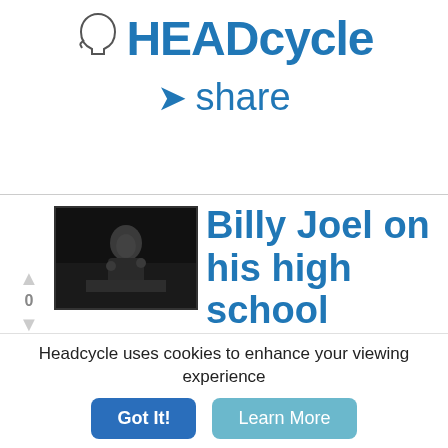HEADCYCLE — share
[Figure (photo): Thumbnail image of a man speaking or gesturing at a podium/desk in a dark setting, likely Billy Joel]
Billy Joel on his high school music teacher
Headcycle uses cookies to enhance your viewing experience
Got It!   Learn More